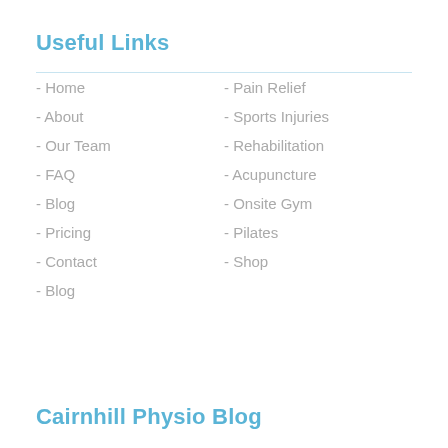Useful Links
- Home
- About
- Our Team
- FAQ
- Blog
- Pricing
- Contact
- Blog
- Pain Relief
- Sports Injuries
- Rehabilitation
- Acupuncture
- Onsite Gym
- Pilates
- Shop
Cairnhill Physio Blog